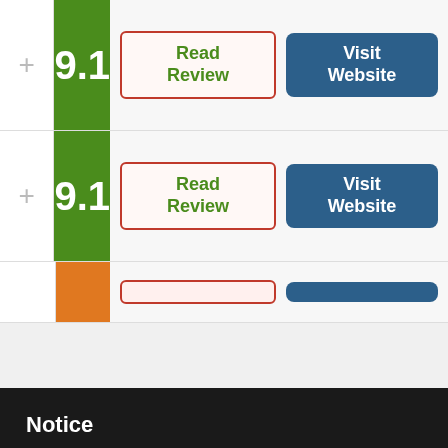[Figure (screenshot): Partial table showing two rows with '+' icons, green score badges showing 9.1, 'Read Review' buttons with red border, and 'Visit Website' blue buttons. Third row partially visible with orange score badge.]
Notice
We and selected third parties use cookies or similar technologies for technical purposes and, with your consent, for other purposes as specified in the cookie policy. Denying consent may make related features unavailable.
Reject
Accept
Learn more and customize